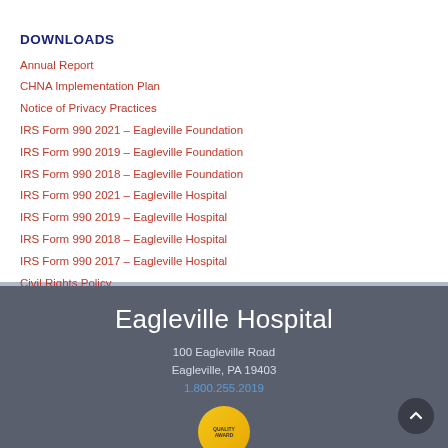DOWNLOADS
Annual Report
CHNA Implementation Plan
Notice of Privacy Practices
IRS Form 990 2021 – Eagleville Foundation
IRS Form 990 2019 – Eagleville Foundation
IRS Form 990 2018 – Eagleville Foundation
IRS Form 990 2021 – Eagleville Hospital
IRS Form 990 2019 – Eagleville Hospital
IRS Form 990 2018 – Eagleville Hospital
IRS Form 990 2017 – Eagleville Hospital
Civil Rights Policy
Eagleville Hospital
100 Eagleville Road
Eagleville, PA 19403
1.800.255.2019